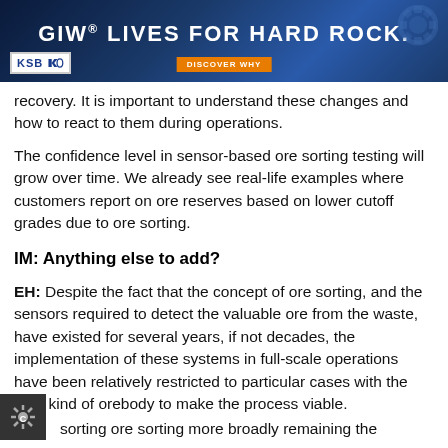[Figure (other): GIW Lives for Hard Rock advertisement banner with KSB logo, gear imagery, and orange DISCOVER WHY button on dark blue background]
recovery. It is important to understand these changes and how to react to them during operations.
The confidence level in sensor-based ore sorting testing will grow over time. We already see real-life examples where customers report on ore reserves based on lower cutoff grades due to ore sorting.
IM: Anything else to add?
EH: Despite the fact that the concept of ore sorting, and the sensors required to detect the valuable ore from the waste, have existed for several years, if not decades, the implementation of these systems in full-scale operations have been relatively restricted to particular cases with the right kind of orebody to make the process viable.
sorting ore sorting more broadly remaining the